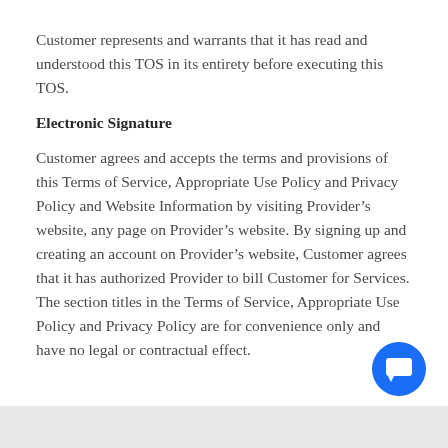Customer represents and warrants that it has read and understood this TOS in its entirety before executing this TOS.
Electronic Signature
Customer agrees and accepts the terms and provisions of this Terms of Service, Appropriate Use Policy and Privacy Policy and Website Information by visiting Provider’s website, any page on Provider’s website. By signing up and creating an account on Provider’s website, Customer agrees that it has authorized Provider to bill Customer for Services. The section titles in the Terms of Service, Appropriate Use Policy and Privacy Policy are for convenience only and have no legal or contractual effect.